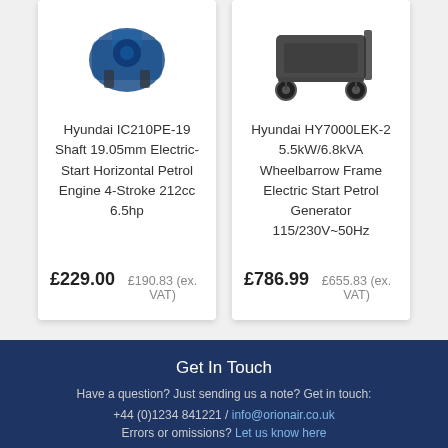[Figure (photo): Hyundai IC210PE-19 petrol engine product photo (blue engine, partially cropped at top)]
Hyundai IC210PE-19 Shaft 19.05mm Electric-Start Horizontal Petrol Engine 4-Stroke 212cc 6.5hp
£229.00 £190.83 (ex. VAT)
[Figure (photo): Hyundai HY7000LEK-2 generator product photo (wheelbarrow frame generator, partially cropped at top)]
Hyundai HY7000LEK-2 5.5kW/6.8kVA Wheelbarrow Frame Electric Start Petrol Generator 115/230V~50Hz
£786.99 £655.83 (ex. VAT)
Get In Touch
Have a question? Just sending us a note? Get in touch:
+44 (0)1234 841221 / info@orionair.co.uk
Errors or omissions? Let us know here